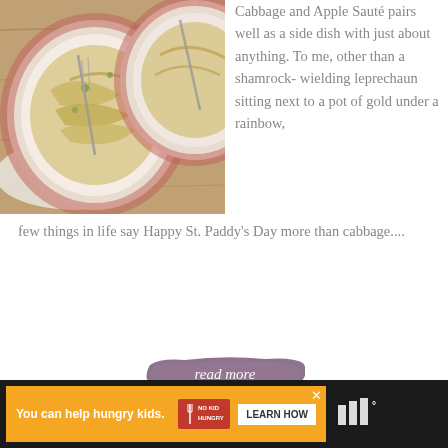[Figure (photo): Two pink/mauve patterned plates with sautéed cabbage and apple dish, with forks, on a wooden table with a white cloth.]
Cabbage and Apple Sauté pairs well as a side dish with just about anything. To me, other than a shamrock-wielding leprechaun sitting next to a pot of gold under a rainbow, few things in life say Happy St. Paddy's Day more than cabbage....
[Figure (other): Read more button with cursive script on a purple/mauve brushstroke background.]
[Figure (other): Advertisement bar: orange background with 'You can help hungry kids.' text, No Kid Hungry logo, and LEARN HOW button. Dark background with brand logo on right.]